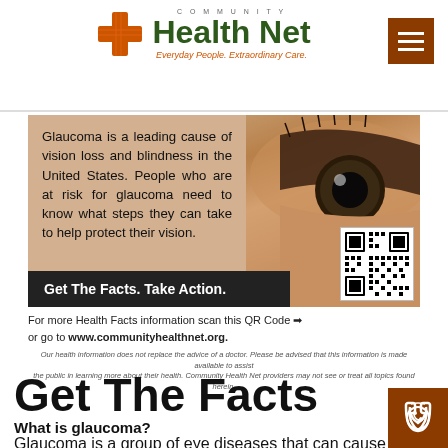Community Health Net — Everyday People. Extraordinary Care.
[Figure (photo): Banner image showing a close-up of a human eye with overlay text: 'Glaucoma is a leading cause of vision loss and blindness in the United States. People who are at risk for glaucoma need to know what steps they can take to help protect their vision.' with a dark banner 'Get The Facts. Take Action.' and a QR code in the bottom right corner.]
For more Health Facts information scan this QR Code or go to www.communityhealthnet.org.
Our health information does not replace the advice of a doctor. Please be advised that this information is made available to assist the public in learning more about their health. Community Health Net providers may not see or treat all topics found herein.
Get The Facts
What is glaucoma?
Glaucoma is a group of eye diseases that can cause vision loss and blindness by damaging a nerve in th